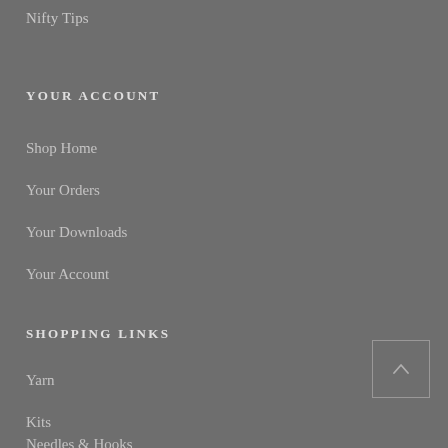Nifty Tips
YOUR ACCOUNT
Shop Home
Your Orders
Your Downloads
Your Account
SHOPPING LINKS
Yarn
Kits
Needles & Hooks
[Figure (other): Back to top button — a square outlined box containing an upward-pointing chevron/caret arrow]